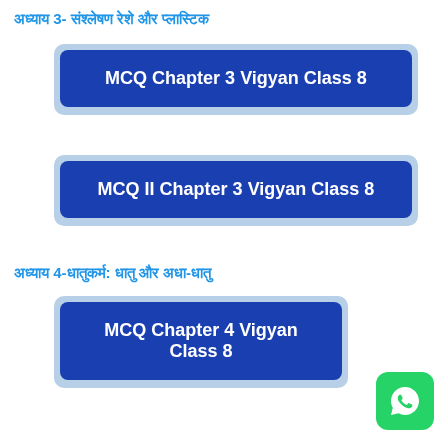अध्याय 3- संश्लेषण रेशे और प्लास्टिक
MCQ Chapter 3 Vigyan Class 8
MCQ II Chapter 3 Vigyan Class 8
अध्याय 4-धातुकर्म: धातु और अधा-धातु
MCQ Chapter 4 Vigyan Class 8
[Figure (logo): WhatsApp icon - green rounded square with white phone/chat symbol]